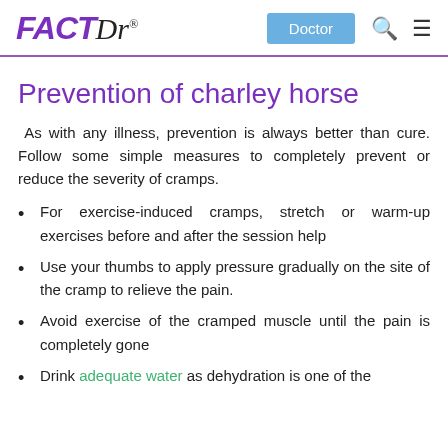FACT Dr® | Doctor
Prevention of charley horse
As with any illness, prevention is always better than cure. Follow some simple measures to completely prevent or reduce the severity of cramps.
For exercise-induced cramps, stretch or warm-up exercises before and after the session help
Use your thumbs to apply pressure gradually on the site of the cramp to relieve the pain.
Avoid exercise of the cramped muscle until the pain is completely gone
Drink adequate water as dehydration is one of the